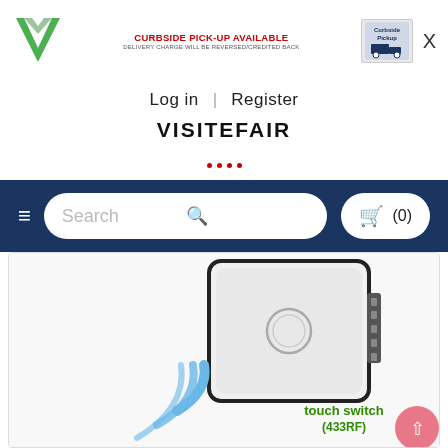[Figure (logo): VF green checkmark logo]
CURBSIDE PICK-UP AVAILABLE
DELIVERY CHARGE WILL BE REVERSED/CREDITED BACK
[Figure (photo): Curbside Pickup icon/image]
X
Log in  |  Register
VISITEFAIR
[Figure (other): Navigation dots]
[Figure (screenshot): Website navigation bar with hamburger menu, search box, and cart (0)]
[Figure (photo): Touch switch (433RF) product image - white glass panel wall switch with wireless signal icon and green text label]